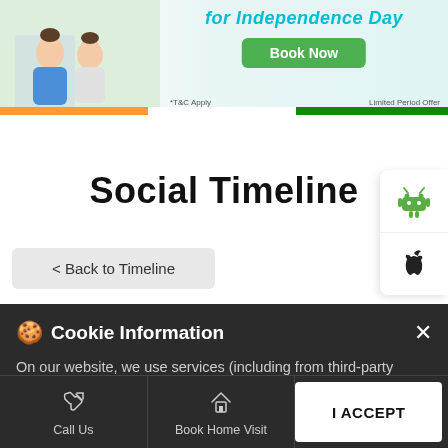[Figure (screenshot): Independence Day promotional banner with family image, teal/cyan heading text, green Book Now button, T&C Apply and Limited Period Offer labels]
Social Timeline
[Figure (screenshot): Android and Apple app store icons stacked vertically on the right side]
< Back to Timeline
Cookie Information
On our website, we use services (including from third-party providers) that help us to improve our online presence (optimization of website) and to display content that is geared to their interests. We need your consent before being able to use these services.
Call Us
Book Home Visit
I ACCEPT
Directions